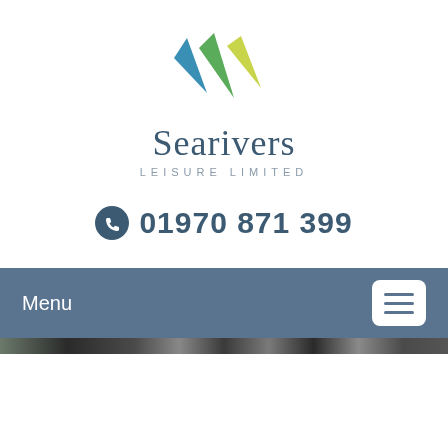[Figure (logo): Searivers Leisure Limited logo with colourful bunting pennants (blue, green, yellow) above the brand name]
01970 871 399
Menu